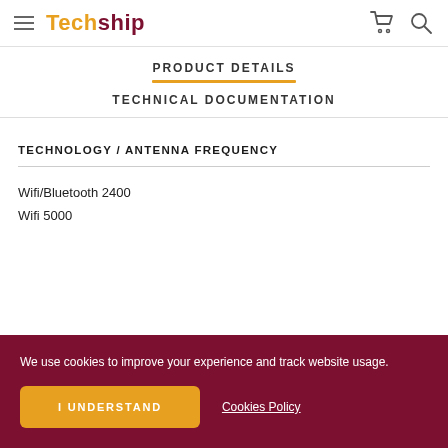Techship
PRODUCT DETAILS
TECHNICAL DOCUMENTATION
TECHNOLOGY / ANTENNA FREQUENCY
Wifi/Bluetooth 2400
Wifi 5000
We use cookies to improve your experience and track website usage.
I UNDERSTAND
Cookies Policy